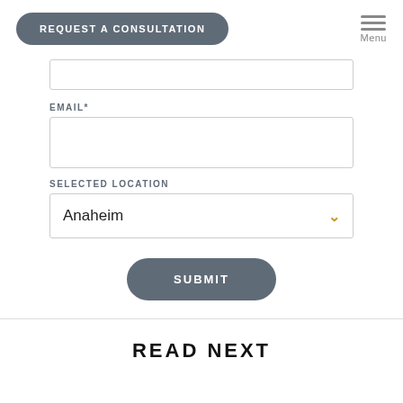REQUEST A CONSULTATION | Menu
[Figure (screenshot): Partial text input field visible at top]
EMAIL*
[Figure (screenshot): Email text input field]
SELECTED LOCATION
[Figure (screenshot): Dropdown select field showing 'Anaheim' with orange chevron]
SUBMIT
READ NEXT